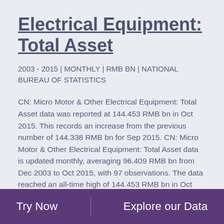Electrical Equipment: Total Asset
2003 - 2015 | MONTHLY | RMB BN | NATIONAL BUREAU OF STATISTICS
CN: Micro Motor & Other Electrical Equipment: Total Asset data was reported at 144.453 RMB bn in Oct 2015. This records an increase from the previous number of 144.338 RMB bn for Sep 2015. CN: Micro Motor & Other Electrical Equipment: Total Asset data is updated monthly, averaging 96.409 RMB bn from Dec 2003 to Oct 2015, with 97 observations. The data reached an all-time high of 144.453 RMB bn in Oct 2015 and a record low of 18.033 RMB bn in Dec 2003. CN: Micro Motor & Other Electrical Equipment: Total Asset data remains active status in CEIC and is reported by National Bureau of Statistics. The data is categorized under China Premium Database's Industrial
Try Now | Explore our Data